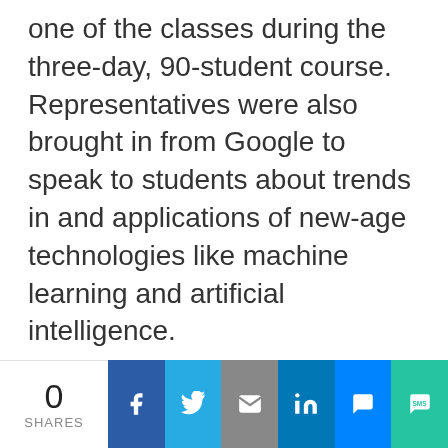one of the classes during the three-day, 90-student course. Representatives were also brought in from Google to speak to students about trends in and applications of new-age technologies like machine learning and artificial intelligence.
Much of the hands-on portion of the course includes in-depth work with Tableau Software, a data visualization tool, to find innovative ways of portraying and communicating information. Students also used big data—extremely large sets of data
0 SHARES | Facebook | Twitter | Email | LinkedIn | Messenger | SMS